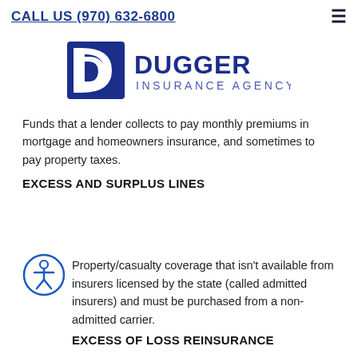CALL US (970) 632-6800
[Figure (logo): Dugger Insurance Agency logo with a blue square D icon and bold blue text reading DUGGER INSURANCE AGENCY]
Funds that a lender collects to pay monthly premiums in mortgage and homeowners insurance, and sometimes to pay property taxes.
EXCESS AND SURPLUS LINES
Property/casualty coverage that isn't available from insurers licensed by the state (called admitted insurers) and must be purchased from a non-admitted carrier.
EXCESS OF LOSS REINSURANCE